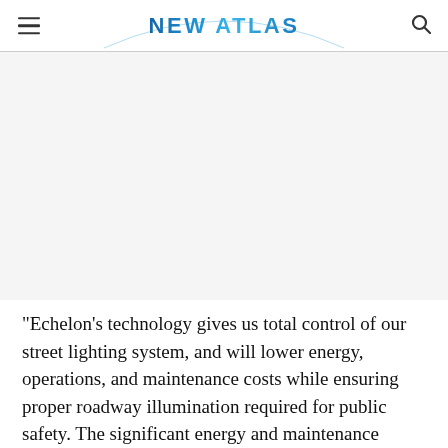NEW ATLAS
[Figure (other): Advertisement / empty image area below the navigation header]
"Echelon's technology gives us total control of our street lighting system, and will lower energy, operations, and maintenance costs while ensuring proper roadway illumination required for public safety. The significant energy and maintenance savings that will be achieved will pay for the new